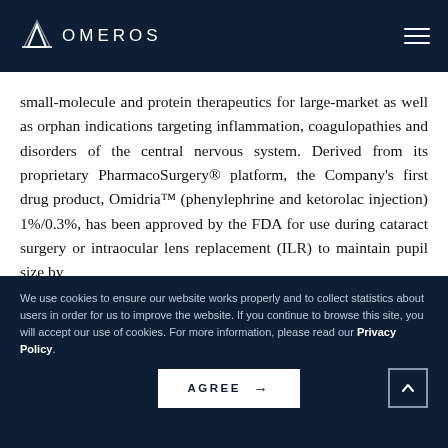OMEROS
small-molecule and protein therapeutics for large-market as well as orphan indications targeting inflammation, coagulopathies and disorders of the central nervous system. Derived from its proprietary PharmacoSurgery® platform, the Company's first drug product, Omidria™ (phenylephrine and ketorolac injection) 1%/0.3%, has been approved by the FDA for use during cataract surgery or intraocular lens replacement (ILR) to maintain pupil size by
We use cookies to ensure our website works properly and to collect statistics about users in order for us to improve the website. If you continue to browse this site, you will accept our use of cookies. For more information, please read our Privacy Policy.